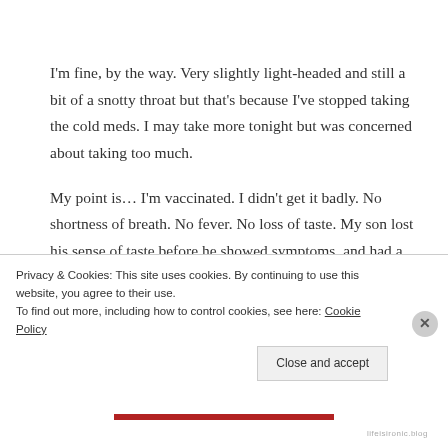I'm fine, by the way. Very slightly light-headed and still a bit of a snotty throat but that's because I've stopped taking the cold meds. I may take more tonight but was concerned about taking too much.
My point is… I'm vaccinated. I didn't get it badly. No shortness of breath. No fever. No loss of taste. My son lost his sense of taste before he showed symptoms, and had a headache for two whole days, then painful ear
Privacy & Cookies: This site uses cookies. By continuing to use this website, you agree to their use.
To find out more, including how to control cookies, see here: Cookie Policy
Close and accept